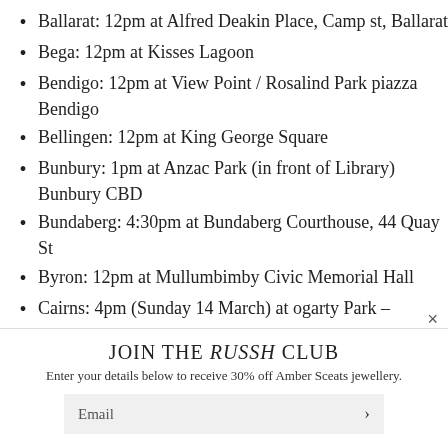Ballarat: 12pm at Alfred Deakin Place, Camp st, Ballarat
Bega: 12pm at Kisses Lagoon
Bendigo: 12pm at View Point / Rosalind Park piazza Bendigo
Bellingen: 12pm at King George Square
Bunbury: 1pm at Anzac Park (in front of Library) Bunbury CBD
Bundaberg: 4:30pm at Bundaberg Courthouse, 44 Quay St
Byron: 12pm at Mullumbimby Civic Memorial Hall
Cairns: 4pm (Sunday 14 March) at ogarty Park –
JOIN THE RUSSH CLUB
Enter your details below to receive 30% off Amber Sceats jewellery.
Email